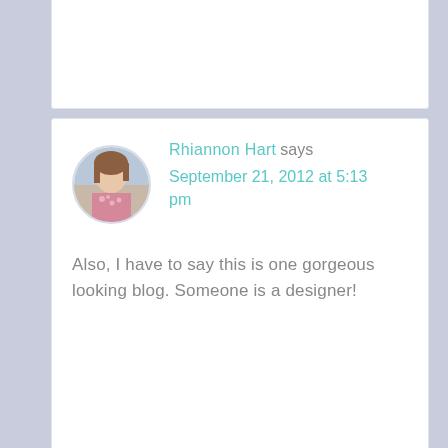[Figure (other): Bottom portion of a comment card, partially visible at top of page]
Rhiannon Hart says
September 21, 2012 at 5:13 pm

Also, I have to say this is one gorgeous looking blog. Someone is a designer!
Jaime Lester says